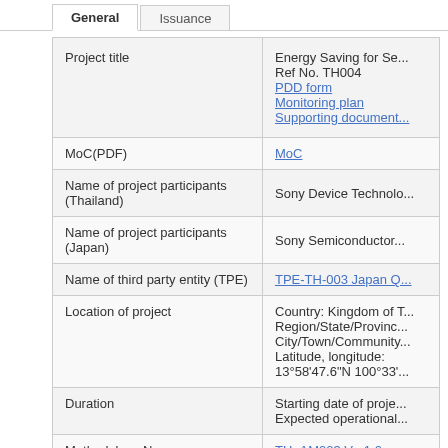General | Issuance
| Field | Value |
| --- | --- |
| Project title | Energy Saving for Se...
Ref No. TH004
PDD form
Monitoring plan
Supporting document... |
| MoC(PDF) | MoC |
| Name of project participants (Thailand) | Sony Device Technolo... |
| Name of project participants (Japan) | Sony Semiconductor... |
| Name of third party entity (TPE) | TPE-TH-003 Japan Q... |
| Location of project | Country: Kingdom of T...
Region/State/Provinc...
City/Town/Community...
Latitude, longitude:
13°58'47.6"N 100°33'... |
| Duration | Starting date of proje...
Expected operational... |
| Methodology No. | TH_AM003 Ver1.0
TH_AM002 Ver2.0 |